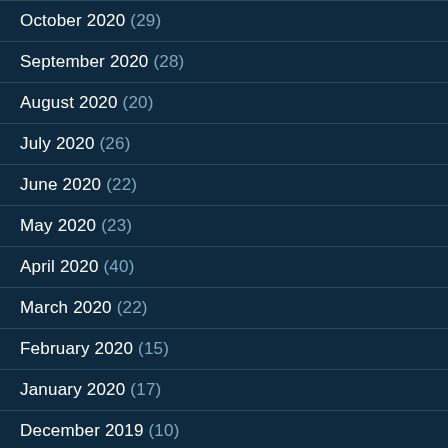October 2020 (29)
September 2020 (28)
August 2020 (20)
July 2020 (26)
June 2020 (22)
May 2020 (23)
April 2020 (40)
March 2020 (22)
February 2020 (15)
January 2020 (17)
December 2019 (10)
November 2019 (18)